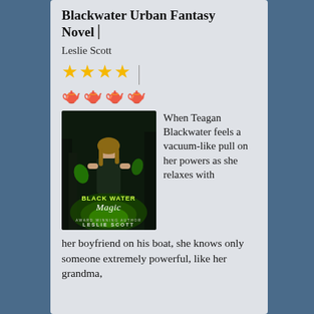Blackwater Urban Fantasy Novel
Leslie Scott
[Figure (other): 4 gold star rating icons followed by a vertical divider, then 4 teapot icons below]
[Figure (photo): Book cover for 'Black Water Magic' by Leslie Scott, showing a woman with glowing green magical energy]
When Teagan Blackwater feels a vacuum-like pull on her powers as she relaxes with her boyfriend on his boat, she knows only someone extremely powerful, like her grandma,